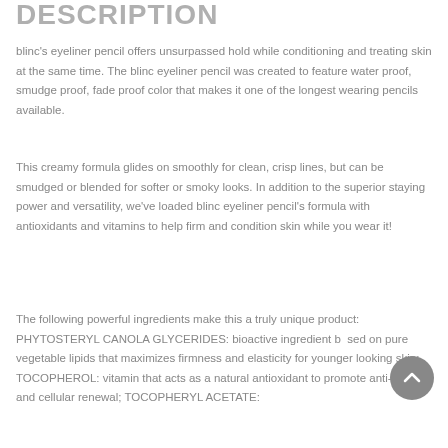DESCRIPTION
blinc's eyeliner pencil offers unsurpassed hold while conditioning and treating skin at the same time. The blinc eyeliner pencil was created to feature water proof, smudge proof, fade proof color that makes it one of the longest wearing pencils available.
This creamy formula glides on smoothly for clean, crisp lines, but can be smudged or blended for softer or smoky looks. In addition to the superior staying power and versatility, we've loaded blinc eyeliner pencil's formula with antioxidants and vitamins to help firm and condition skin while you wear it!
The following powerful ingredients make this a truly unique product: PHYTOSTERYL CANOLA GLYCERIDES: bioactive ingredient based on pure vegetable lipids that maximizes firmness and elasticity for younger looking skin; TOCOPHEROL: vitamin that acts as a natural antioxidant to promote anti-aging and cellular renewal; TOCOPHERYL ACETATE: